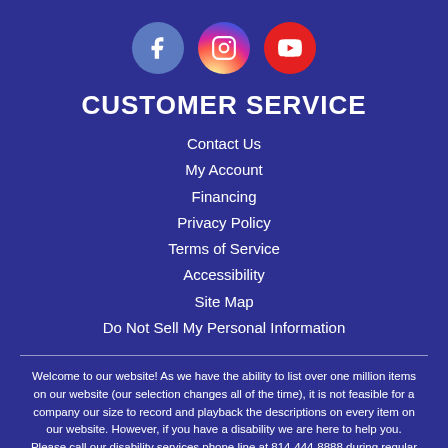[Figure (illustration): Three social media icons: Facebook (blue circle), Instagram (gradient circle), YouTube (red circle)]
CUSTOMER SERVICE
Contact Us
My Account
Financing
Privacy Policy
Terms of Service
Accessibility
Site Map
Do Not Sell My Personal Information
Welcome to our website! As we have the ability to list over one million items on our website (our selection changes all of the time), it is not feasible for a company our size to record and playback the descriptions on every item on our website. However, if you have a disability we are here to help you. Please call our disability services phone line at 814-444-8888 during regular business hours and one of our kind and friendly personal shoppers will help you navigate through our website, help conduct advanced searches, help you choose the item you are